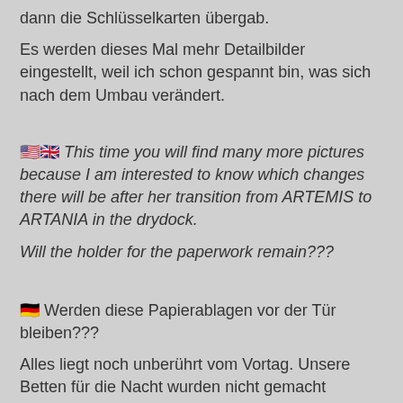dann die Schlüsselkarten übergab.
Es werden dieses Mal mehr Detailbilder eingestellt, weil ich schon gespannt bin, was sich nach dem Umbau verändert.
🇺🇸🇬🇧 This time you will find many more pictures because I am interested to know which changes there will be after her transition from ARTEMIS to ARTANIA in the drydock.
Will the holder for the paperwork remain???
🇩🇪 Werden diese Papierablagen vor der Tür bleiben???
Alles liegt noch unberührt vom Vortag. Unsere Betten für die Nacht wurden nicht gemacht offensichtlich.